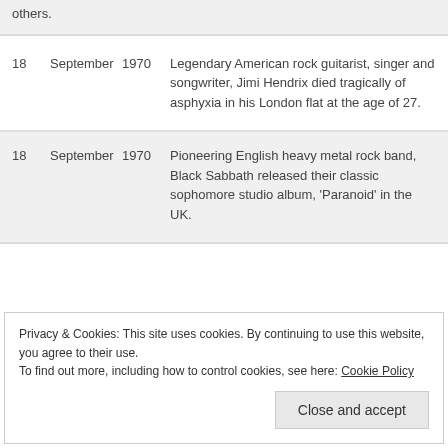others.
| Day | Month | Year | Description |
| --- | --- | --- | --- |
| 18 | September | 1970 | Legendary American rock guitarist, singer and songwriter, Jimi Hendrix died tragically of asphyxia in his London flat at the age of 27. |
| 18 | September | 1970 | Pioneering English heavy metal rock band, Black Sabbath released their classic sophomore studio album, 'Paranoid' in the UK. |
Privacy & Cookies: This site uses cookies. By continuing to use this website, you agree to their use. To find out more, including how to control cookies, see here: Cookie Policy